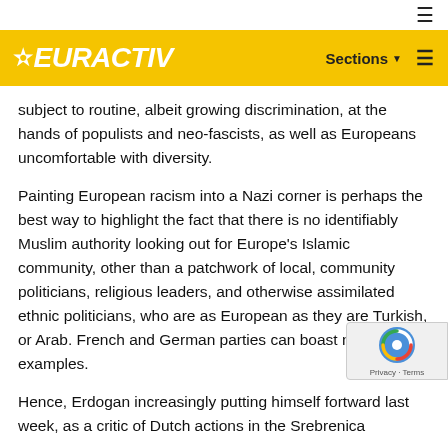EURACTIV — Sections navigation header
subject to routine, albeit growing discrimination, at the hands of populists and neo-fascists, as well as Europeans uncomfortable with diversity.
Painting European racism into a Nazi corner is perhaps the best way to highlight the fact that there is no identifiably Muslim authority looking out for Europe's Islamic community, other than a patchwork of local, community politicians, religious leaders, and otherwise assimilated ethnic politicians, who are as European as they are Turkish, or Arab. French and German parties can boast numerous examples.
Hence, Erdogan increasingly putting himself forward last week, as a critic of Dutch actions in the Srebrenica